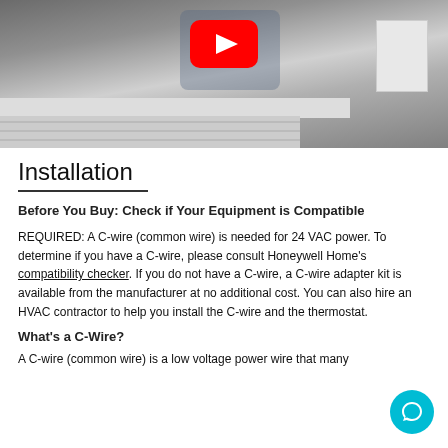[Figure (screenshot): YouTube video thumbnail showing a person installing a thermostat on a wall, with a YouTube play button overlay. Brick structure visible in the lower portion.]
Installation
Before You Buy: Check if Your Equipment is Compatible
REQUIRED: A C-wire (common wire) is needed for 24 VAC power. To determine if you have a C-wire, please consult Honeywell Home's compatibility checker. If you do not have a C-wire, a C-wire adapter kit is available from the manufacturer at no additional cost. You can also hire an HVAC contractor to help you install the C-wire and the thermostat.
What's a C-Wire?
A C-wire (common wire) is a low voltage power wire that many